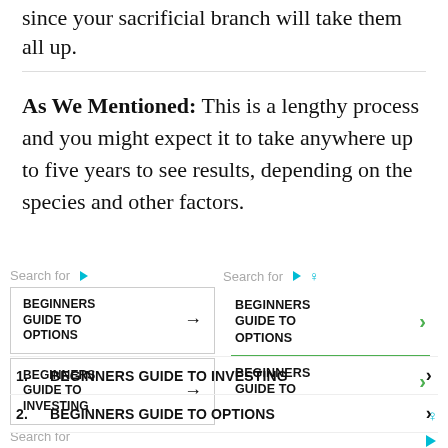since your sacrificial branch will take them all up.
As We Mentioned: This is a lengthy process and you might expect it to take anywhere up to five years to see results, depending on the species and other factors.
[Figure (screenshot): Advertisement widgets showing search boxes for 'BEGINNERS GUIDE TO OPTIONS' and 'BEGINNERS GUIDE TO INVESTING' with arrow buttons, displayed in two columns. Bottom section shows a numbered list: 1. BEGINNERS GUIDE TO INVESTING, 2. BEGINNERS GUIDE TO OPTIONS.]